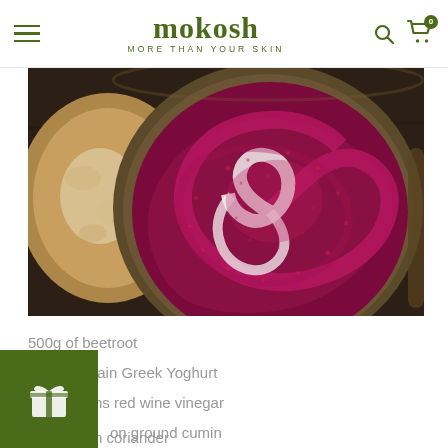mokosh MORE THAN YOUR SKIN
[Figure (photo): Overhead close-up photo of a rustic ceramic bowl containing vibrant magenta/pink beetroot dip swirled with white Greek yoghurt, accompanied by a flatbread/roti on a dark wooden surface.]
500g of beetroot
1 cup of plain Greek Yoghurt
2 teaspoons red wine vinegar
1 teaspoon ground cumin
1 teaspoon coriander